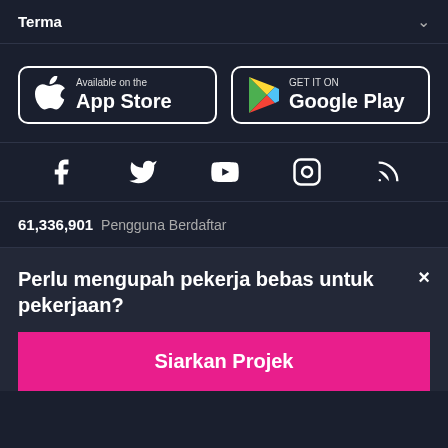Terma
[Figure (logo): App Store badge: Available on the App Store (Apple logo)]
[Figure (logo): Google Play badge: GET IT ON Google Play (Play Store logo)]
[Figure (infographic): Social media icons row: Facebook, Twitter, YouTube, Instagram, RSS]
61,336,901 Pengguna Berdaftar
Perlu mengupah pekerja bebas untuk pekerjaan?
Siarkan Projek